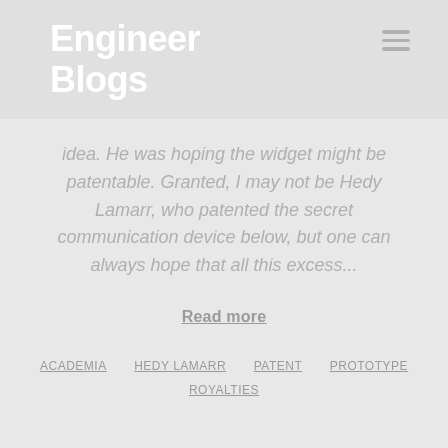Engineer Blogs
idea.  He was hoping the widget might be patentable.  Granted, I may not be Hedy Lamarr, who patented the secret communication device below, but one can always hope that all this excess...
Read more
ACADEMIA   HEDY LAMARR   PATENT   PROTOTYPE   ROYALTIES